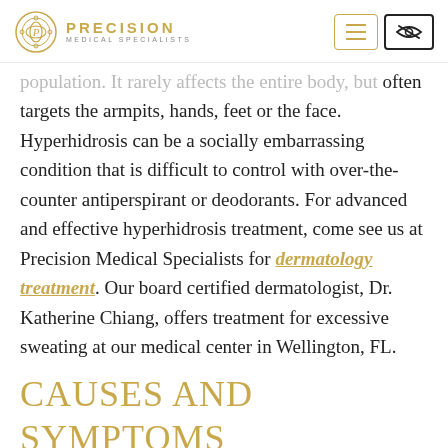Precision Medical Specialists
population. It rarely affects the entire body, but often targets the armpits, hands, feet or the face. Hyperhidrosis can be a socially embarrassing condition that is difficult to control with over-the-counter antiperspirant or deodorants. For advanced and effective hyperhidrosis treatment, come see us at Precision Medical Specialists for dermatology treatment. Our board certified dermatologist, Dr. Katherine Chiang, offers treatment for excessive sweating at our medical center in Wellington, FL.
CAUSES AND SYMPTOMS